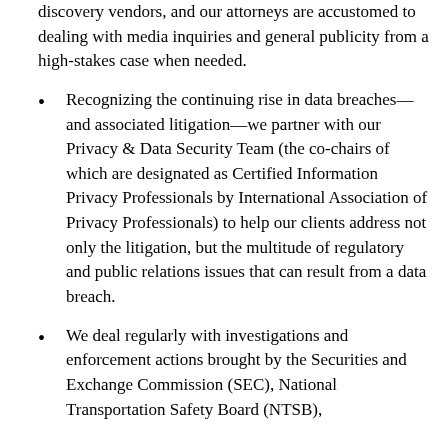discovery vendors, and our attorneys are accustomed to dealing with media inquiries and general publicity from a high-stakes case when needed.
Recognizing the continuing rise in data breaches—and associated litigation—we partner with our Privacy & Data Security Team (the co-chairs of which are designated as Certified Information Privacy Professionals by International Association of Privacy Professionals) to help our clients address not only the litigation, but the multitude of regulatory and public relations issues that can result from a data breach.
We deal regularly with investigations and enforcement actions brought by the Securities and Exchange Commission (SEC), National Transportation Safety Board (NTSB),